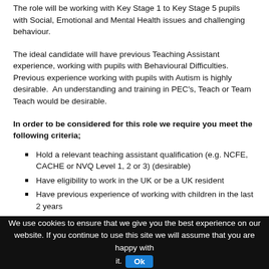The role will be working with Key Stage 1 to Key Stage 5 pupils with Social, Emotional and Mental Health issues and challenging behaviour.
The ideal candidate will have previous Teaching Assistant experience, working with pupils with Behavioural Difficulties. Previous experience working with pupils with Autism is highly desirable. An understanding and training in PEC's, Teach or Team Teach would be desirable.
In order to be considered for this role we require you meet the following criteria;
Hold a relevant teaching assistant qualification (e.g. NCFE, CACHE or NVQ Level 1, 2 or 3) (desirable)
Have eligibility to work in the UK or be a UK resident
Have previous experience of working with children in the last 2 years
Excellent knowledge of the full curriculum and assessment frameworks
Previous KS1, KS2, KS3, KS4 and KS5 experience
Experience working with pupils with Special Educational Needs
Two references working with children
Hold a current DBS that is registered with the update service or be willing to apply for a new one
We use cookies to ensure that we give you the best experience on our website. If you continue to use this site we will assume that you are happy with it. Ok